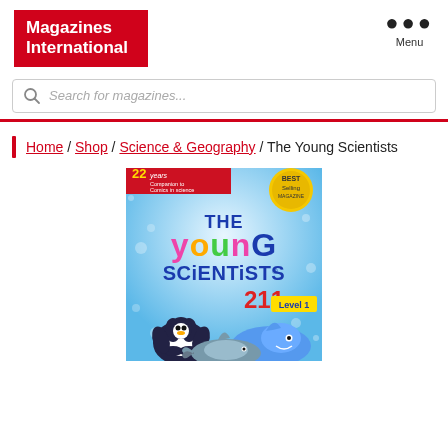[Figure (logo): Magazines International red logo with white text]
Menu
Search for magazines...
Home / Shop / Science & Geography / The Young Scientists
[Figure (photo): Cover of The Young Scientists magazine issue 211 Level 1, showing cartoon marine animals (penguin, whale, shark) on a blue underwater background with '22 Years' banner and Best Selling badge]